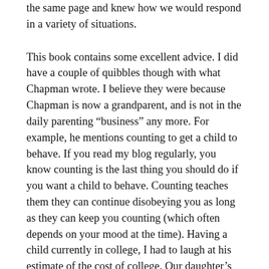the same page and knew how we would respond in a variety of situations.
This book contains some excellent advice. I did have a couple of quibbles though with what Chapman wrote. I believe they were because Chapman is now a grandparent, and is not in the daily parenting “business” any more. For example, he mentions counting to get a child to behave. If you read my blog regularly, you know counting is the last thing you should do if you want a child to behave. Counting teaches them they can continue disobeying you as long as they can keep you counting (which often depends on your mood at the time). Having a child currently in college, I had to laugh at his estimate of the cost of college. Our daughter’s university just made some list of best values in the country and we pay several multiples of that number – even with her many academic